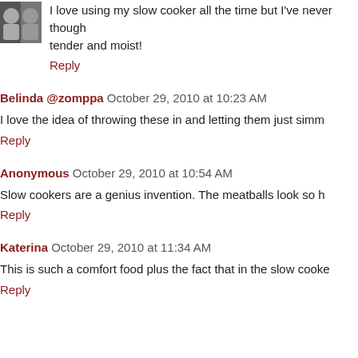[Figure (photo): Small avatar/profile photo thumbnail in top-left corner]
I love using my slow cooker all the time but I've never though tender and moist!
Reply
Belinda @zomppa  October 29, 2010 at 10:23 AM
I love the idea of throwing these in and letting them just simm
Reply
Anonymous  October 29, 2010 at 10:54 AM
Slow cookers are a genius invention. The meatballs look so h
Reply
Katerina  October 29, 2010 at 11:34 AM
This is such a comfort food plus the fact that in the slow cooke
Reply